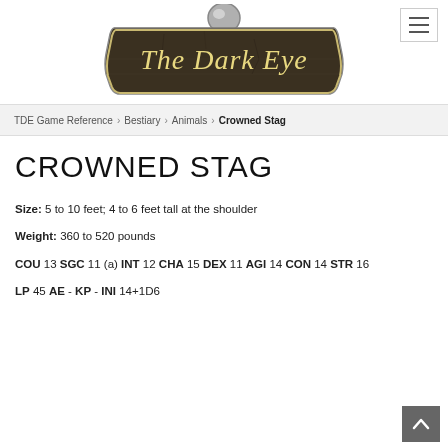[Figure (logo): The Dark Eye game logo — a stone/metal decorative plaque with the text 'The Dark Eye' and a silver orb at the top center]
TDE Game Reference › Bestiary › Animals › Crowned Stag
CROWNED STAG
Size: 5 to 10 feet; 4 to 6 feet tall at the shoulder
Weight: 360 to 520 pounds
COU 13 SGC 11 (a) INT 12 CHA 15 DEX 11 AGI 14 CON 14 STR 16
LP 45 AE - KP - INI 14+1D6